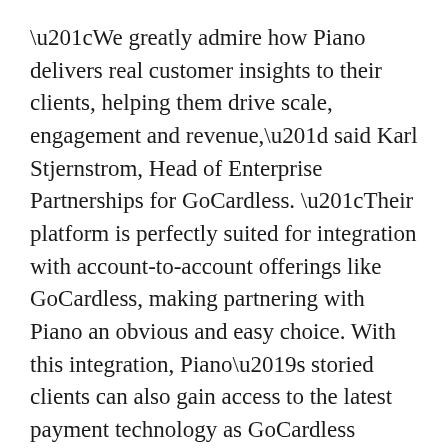“We greatly admire how Piano delivers real customer insights to their clients, helping them drive scale, engagement and revenue,” said Karl Stjernstrom, Head of Enterprise Partnerships for GoCardless. “Their platform is perfectly suited for integration with account-to-account offerings like GoCardless, making partnering with Piano an obvious and easy choice. With this integration, Piano’s storied clients can also gain access to the latest payment technology as GoCardless introduces new features harnessing the power of open banking.”
The partnership between GoCardless and Piano will assist brands and publishers with driving recurring revenue through a better payment experience, fully